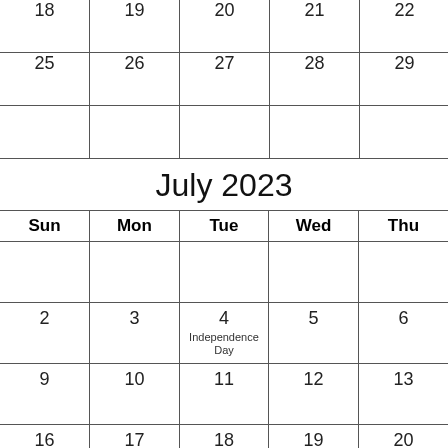|  |  |  |  |  |
| --- | --- | --- | --- | --- |
| 18 | 19 | 20 | 21 | 22 |
| 25 | 26 | 27 | 28 | 29 |
|  |  |  |  |  |
July 2023
| Sun | Mon | Tue | Wed | Thu |
| --- | --- | --- | --- | --- |
|  |  |  |  |  |
| 2 | 3 | 4
Independence Day | 5 | 6 |
| 9 | 10 | 11 | 12 | 13 |
| 16 | 17 | 18 | 19 | 20 |